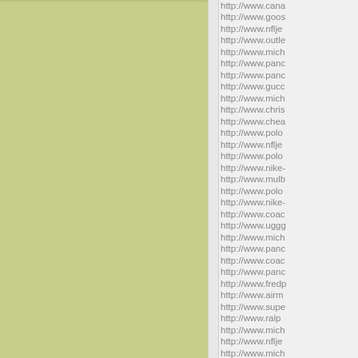[Figure (other): Green colored left column panel]
http://www.cana...
http://www.goos...
http://www.nflje...
http://www.outle...
http://www.mich...
http://www.panc...
http://www.panc...
http://www.gucc...
http://www.mich...
http://www.chris...
http://www.chea...
http://www.polo...
http://www.nflje...
http://www.polo...
http://www.nike-...
http://www.mulb...
http://www.polo...
http://www.nike-...
http://www.coac...
http://www.uggg...
http://www.mich...
http://www.panc...
http://www.coac...
http://www.panc...
http://www.fredp...
http://www.airm...
http://www.supe...
http://www.ralp...
http://www.mich...
http://www.nflje...
http://www.mich...
http://www.mbts...
http://www.mon...
http://www.coac...
http://www.airjo...
http://www.edha...
http://www.mich...
http://www.pu...